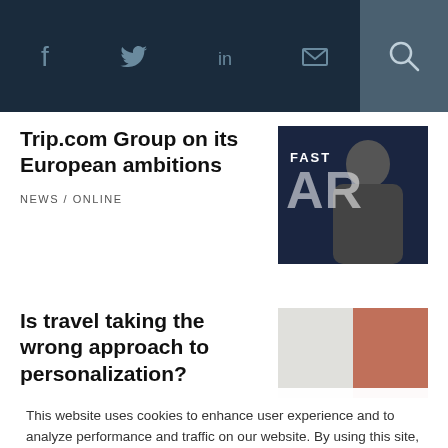Social icons: f, twitter, in, mail, search
Trip.com Group on its European ambitions
NEWS / ONLINE
[Figure (photo): Photo of man on stage with FAST ARD text overlay]
Is travel taking the wrong approach to personalization?
[Figure (photo): Partial photo split: grey left half, pink/red right half]
This website uses cookies to enhance user experience and to analyze performance and traffic on our website. By using this site, you agree to the use of cookies. You may change your cookie settings at any time, but the site may not function properly. Cookie Policy
Close